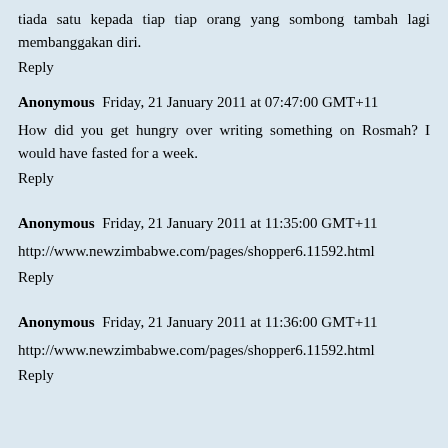tiada satu kepada tiap tiap orang yang sombong tambah lagi membanggakan diri.
Reply
Anonymous  Friday, 21 January 2011 at 07:47:00 GMT+11
How did you get hungry over writing something on Rosmah? I would have fasted for a week.
Reply
Anonymous  Friday, 21 January 2011 at 11:35:00 GMT+11
http://www.newzimbabwe.com/pages/shopper6.11592.html
Reply
Anonymous  Friday, 21 January 2011 at 11:36:00 GMT+11
http://www.newzimbabwe.com/pages/shopper6.11592.html
Reply